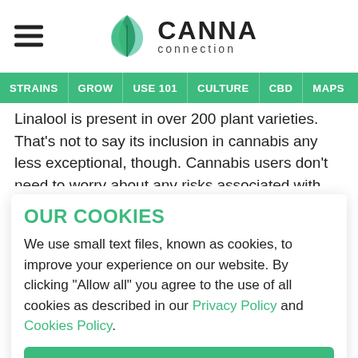CANNA connection
STRAINS | GROW | USE 101 | CULTURE | CBD | MAPS
Linalool is present in over 200 plant varieties. That's not to say its inclusion in cannabis any less exceptional, though. Cannabis users don't need to worry about any risks associated with consuming linalool as it is broken down incredibly quickly by our
OUR COOKIES
We use small text files, known as cookies, to improve your experience on our website. By clicking "Allow all" you agree to the use of all cookies as described in our Privacy Policy and Cookies Policy.
Allow all
Reject all
Manage cookies